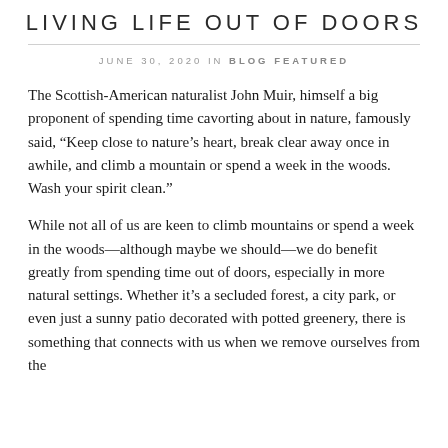LIVING LIFE OUT OF DOORS
JUNE 30, 2020 IN BLOG FEATURED
The Scottish-American naturalist John Muir, himself a big proponent of spending time cavorting about in nature, famously said, “Keep close to nature’s heart, break clear away once in awhile, and climb a mountain or spend a week in the woods. Wash your spirit clean.”
While not all of us are keen to climb mountains or spend a week in the woods—although maybe we should—we do benefit greatly from spending time out of doors, especially in more natural settings. Whether it’s a secluded forest, a city park, or even just a sunny patio decorated with potted greenery, there is something that connects with us when we remove ourselves from the